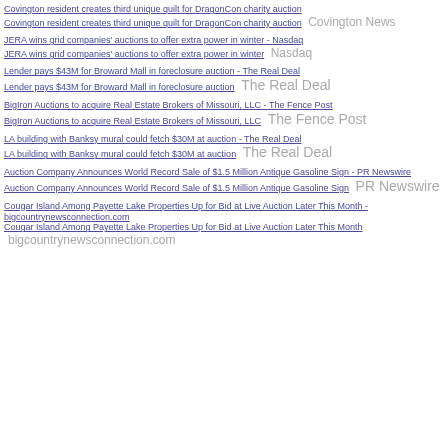Covington resident creates third unique quilt for DragonCon charity auction - Covington News
JERA wins grid companies' auctions to offer extra power in winter - Nasdaq
Lender pays $43M for Broward Mall in foreclosure auction - The Real Deal
BigIron Auctions to acquire Real Estate Brokers of Missouri, LLC - The Fence Post
LA building with Banksy mural could fetch $30M at auction - The Real Deal
Auction Company Announces World Record Sale of $1.5 Million Antique Gasoline Sign - PR Newswire
Cougar Island Among Payette Lake Properties Up for Bid at Live Auction Later This Month - bigcountrynewsconnection.com